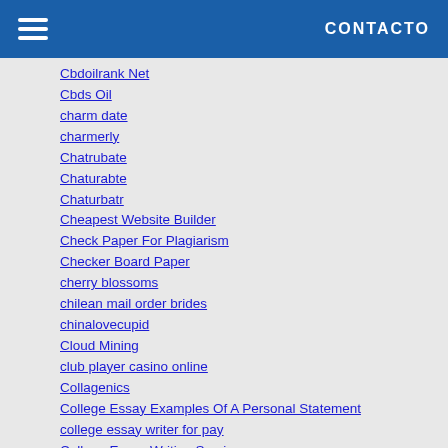CONTACTO
Cbdoilrank Net
Cbds Oil
charm date
charmerly
Chatrubate
Chaturabte
Chaturbatr
Cheapest Website Builder
Check Paper For Plagiarism
Checker Board Paper
cherry blossoms
chilean mail order brides
chinalovecupid
Cloud Mining
club player casino online
Collagenics
College Essay Examples Of A Personal Statement
college essay writer for pay
College Essay Writing Service
College Expository Essay Topics
College Life
College Paper Writing Service